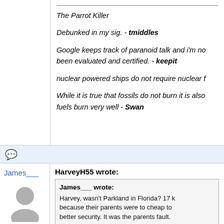The Parrot Killer
Debunked in my sig. - tmiddles
Google keeps track of paranoid talk and i'm no been evaluated and certified. - keepit
nuclear powered ships do not require nuclear f
While it is true that fossils do not burn it is also fuels burn very well - Swan
James___
[Figure (illustration): Generic user avatar - grey silhouette of a person]
★★★★★ (5513)
HarveyH55 wrote: James___ wrote: Harvey, wasn't Parkland in Florida? 17 k because their parents were to cheap to better security. It was the parents fault. didn't pay for sufficient security out of th pockets. Besides, the guy getting paid f weren't his kids, right? Why should he s out for them when he's getting paid for i say, people make mistakes, deal with it. https://www.cnn.com/2019/06/04/us/par